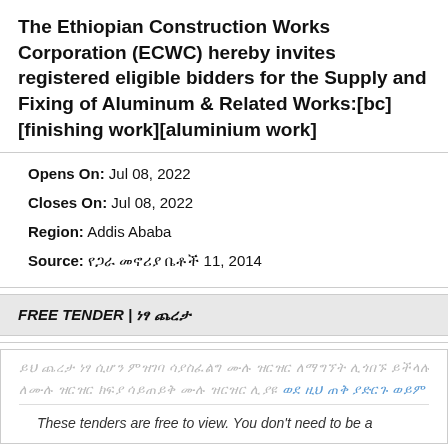The Ethiopian Construction Works Corporation (ECWC) hereby invites registered eligible bidders for the Supply and Fixing of Aluminum & Related Works:[bc][finishing work][aluminium work]
Opens On: Jul 08, 2022
Closes On: Jul 08, 2022
Region: Addis Ababa
Source: የጋራ መኖሪያ ቤቶች 11, 2014
FREE TENDER | ነፃ ጨረታ
[blurred Amharic text lines]
These tenders are free to view. You don't need to be a